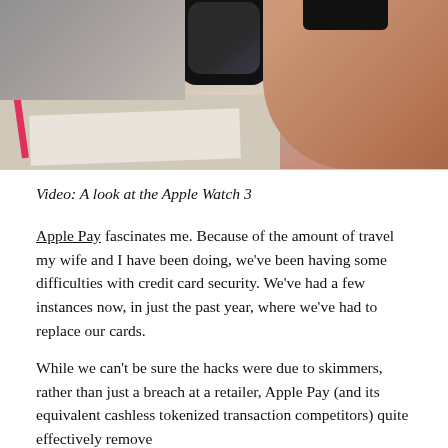[Figure (photo): Photo of an Apple Watch being worn on a wrist, with a pink pen and paper/desk visible in the background]
Video: A look at the Apple Watch 3
Apple Pay fascinates me. Because of the amount of travel my wife and I have been doing, we've been having some difficulties with credit card security. We've had a few instances now, in just the past year, where we've had to replace our cards.
While we can't be sure the hacks were due to skimmers, rather than just a breach at a retailer, Apple Pay (and its equivalent cashless tokenized transaction competitors) quite effectively remove